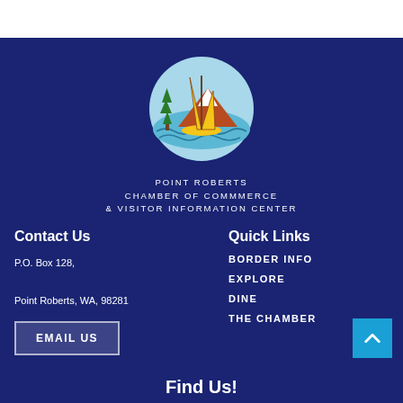[Figure (logo): Point Roberts Chamber of Commerce circular logo showing a sailboat on water with a pine tree on the left and a snow-capped mountain on the right, all within a dark blue circular border on a light blue background.]
POINT ROBERTS
CHAMBER OF COMMMERCE
& VISITOR INFORMATION CENTER
Contact Us
P.O. Box 128,
Point Roberts, WA, 98281
EMAIL US
Quick Links
BORDER INFO
EXPLORE
DINE
THE CHAMBER
Find Us!